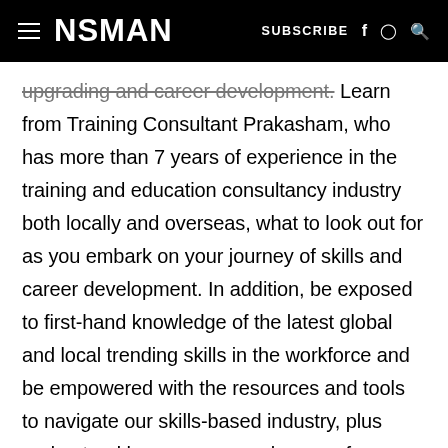≡ NSMAN   SUBSCRIBE f ⊙ Q
upgrading and career development. Learn from Training Consultant Prakasham, who has more than 7 years of experience in the training and education consultancy industry both locally and overseas, what to look out for as you embark on your journey of skills and career development. In addition, be exposed to first-hand knowledge of the latest global and local trending skills in the workforce and be empowered with the resources and tools to navigate our skills-based industry, plus understand how you can make use of your additional SkillsFuture Credit top-up.